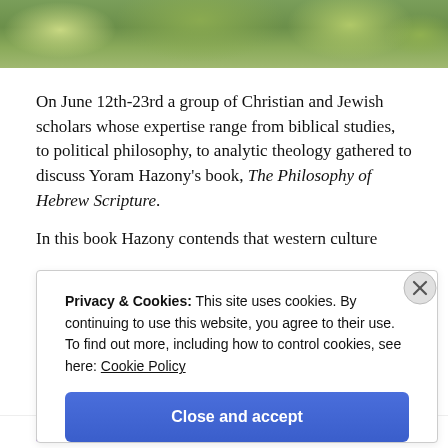[Figure (photo): Aerial or outdoor photo showing trees and greenery, cropped at top of page]
On June 12th-23rd a group of Christian and Jewish scholars whose expertise range from biblical studies, to political philosophy, to analytic theology gathered to discuss Yoram Hazony’s book, The Philosophy of Hebrew Scripture.
In this book Hazony contends that western culture
Privacy & Cookies: This site uses cookies. By continuing to use this website, you agree to their use. To find out more, including how to control cookies, see here: Cookie Policy
Close and accept